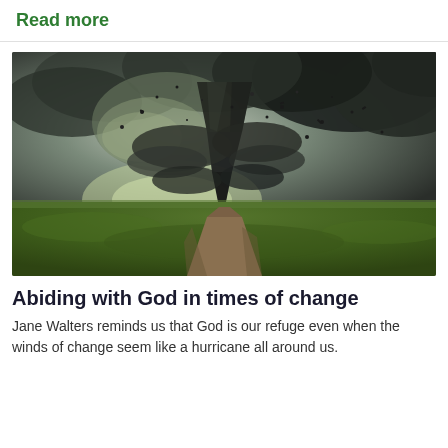Read more
[Figure (photo): A dramatic photograph of a tornado funnel cloud forming over a flat green field with a dirt road leading toward it, stormy dark swirling clouds and debris in the sky.]
Abiding with God in times of change
Jane Walters reminds us that God is our refuge even when the winds of change seem like a hurricane all around us.